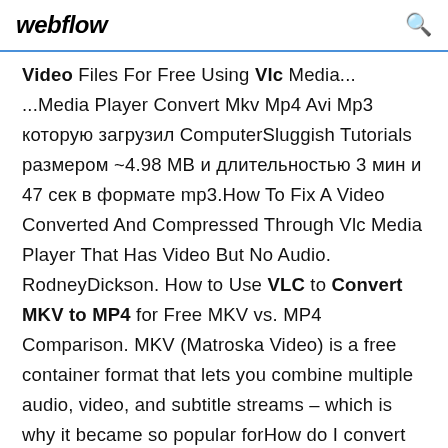webflow
Video Files For Free Using Vlc Media... ...Media Player Convert Mkv Mp4 Avi Mp3 которую загрузил ComputerSluggish Tutorials размером ~4.98 MB и длительностью 3 мин и 47 сек в формате mp3.How To Fix A Video Converted And Compressed Through Vlc Media Player That Has Video But No Audio. RodneyDickson. How to Use VLC to Convert MKV to MP4 for Free MKV vs. MP4 Comparison. MKV (Matroska Video) is a free container format that lets you combine multiple audio, video, and subtitle streams – which is why it became so popular forHow do I convert MKV to MP4 on Mac? You can use desktop software like the Mac version